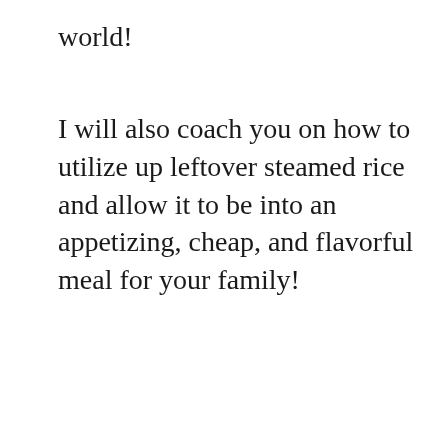world!
I will also coach you on how to utilize up leftover steamed rice and allow it to be into an appetizing, cheap, and flavorful meal for your family!